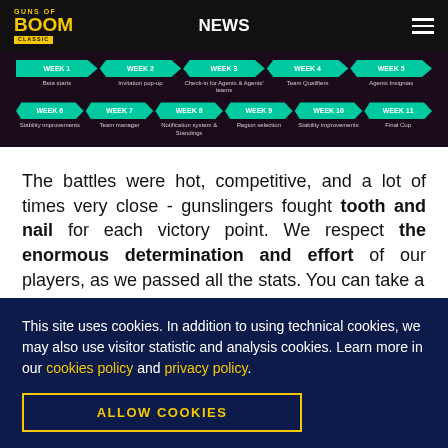NEWS
[Figure (infographic): Timeline showing weeks 1-11 of a Guns of Boom Classic season. Week 1: Beta starts, Week 2: Invitation pop-up, Week 3: Check-in for Agents & Agents' teams, Week 4: Team Qualifiers, Week 5: Agents Insignias, Week 6: Stability improvements, Week 7: Team manager, Week 8: Notification system & Standings, Week 9: Region selection, Week 10: Stability improvements, Week 11: Final Cup]
The battles were hot, competitive, and a lot of times very close - gunslingers fought tooth and nail for each victory point. We respect the enormous determination and effort of our players, as we passed all the stats. You can take a
This site uses cookies. In addition to using technical cookies, we may also use visitor statistic and analysis cookies. Learn more in our cookies policy and privacy policy.